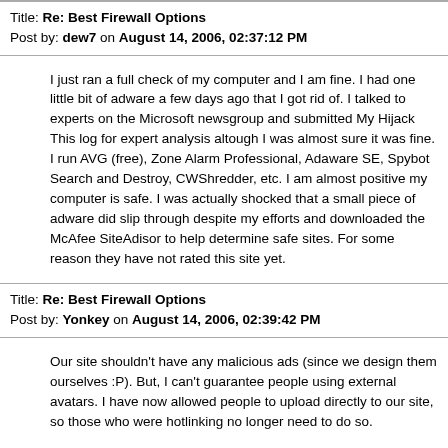Title: Re: Best Firewall Options
Post by: dew7 on August 14, 2006, 02:37:12 PM
I just ran a full check of my computer and I am fine.  I had one little bit of adware a few days ago that I got rid of.  I talked to experts on the Microsoft newsgroup and submitted My Hijack This log for expert analysis altough I was almost sure it was fine.  I run AVG (free), Zone Alarm Professional, Adaware SE, Spybot Search and Destroy, CWShredder, etc. I am almost positive my computer is safe.  I was actually shocked that a small piece of adware did slip through despite my efforts and downloaded the McAfee SiteAdisor to help determine safe sites.  For some reason they have not rated this site yet.
Title: Re: Best Firewall Options
Post by: Yonkey on August 14, 2006, 02:39:42 PM
Our site shouldn't have any malicious ads (since we design them ourselves :P).  But, I can't guarantee people using external avatars.  I have now allowed people to upload directly to our site, so those who were hotlinking no longer need to do so.
Basically, those sites use a scanning port to determine the IP address of the person viewing their image.  It's invasive and I don't know why they use that particular technique when all they need to do is examine server logs, but oh well. ZoneAlarm